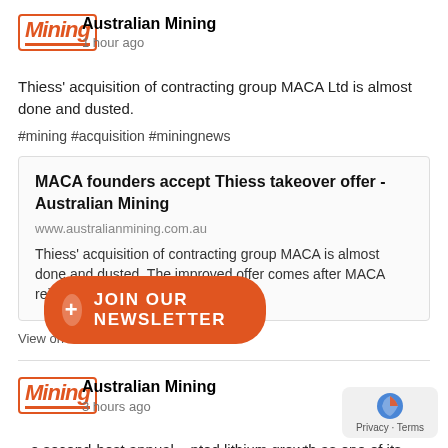Australian Mining · 1 hour ago
Thiess' acquisition of contracting group MACA Ltd is almost done and dusted.
#mining #acquisition #miningnews
MACA founders accept Thiess takeover offer - Australian Mining
www.australianmining.com.au
Thiess' acquisition of contracting group MACA is almost done and dusted. The improved offer comes after MACA rejected a $1.085 offer.
View on Facebook · Share
Australian Mining · 3 hours ago
...e second-best annual ...nted lithium growth as one of its four key business pillars.
#mining #lithium #minerals
+ JOIN OUR NEWSLETTER
Privacy · Terms